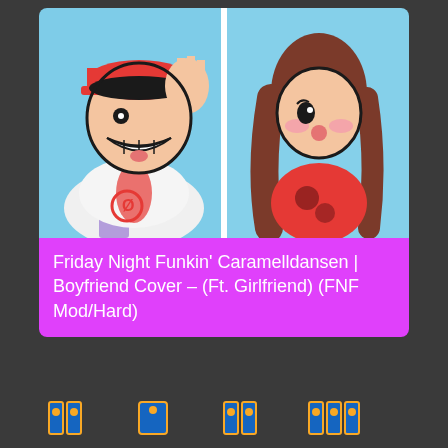[Figure (illustration): Thumbnail image showing two Friday Night Funkin' characters: Boyfriend (left, wearing red cap, blue outfit, making hand gesture, light blue background) and Girlfriend (right, brown hair, red dress, light blue background). Split-panel composition with a white vertical divider.]
Friday Night Funkin' Caramelldansen | Boyfriend Cover – (Ft. Girlfriend) (FNF Mod/Hard)
[Figure (screenshot): Bottom navigation bar showing partially visible yellow and blue icons/buttons on a dark background.]